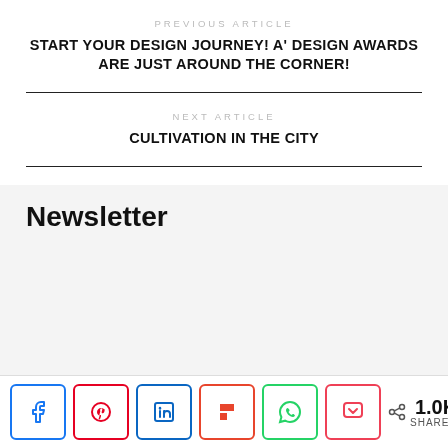PREVIOUS ARTICLE
START YOUR DESIGN JOURNEY! A' DESIGN AWARDS ARE JUST AROUND THE CORNER!
NEXT ARTICLE
CULTIVATION IN THE CITY
Newsletter
< 1.0K SHARES